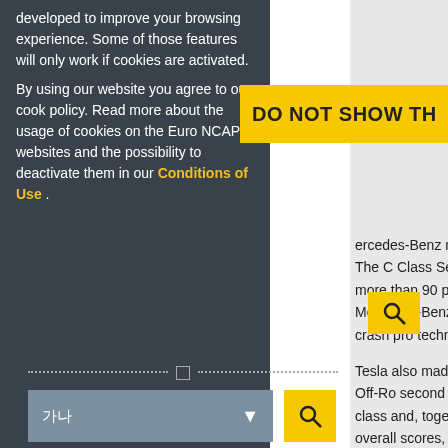developed to improve your browsing experience. Some of those features will only work if cookies are activated.
By using our website you agree to our cookie policy. Read more about the usage of cookies on the Euro NCAP websites and the possibility to deactivate them in our Conditions of Use .
DO NOT SHOW TH
ercedes-Benz regained it Family Car category. The C Class Sedan, the winner of score of more than 90 per and delivered the best ove Mercedes-Benz launched f with outstanding crash pro technology.
Tesla also made a strong a winner in the Large Off-Ro second place. The Tesla Me vehicle class and, together the Large Family category. overall scores, the BMW sc and the Tesla edging it in S runner-up in this category.